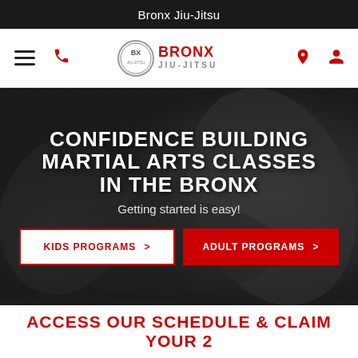Bronx Jiu-Jitsu
[Figure (logo): BX Bronx Jiu-Jitsu logo with circular BX emblem and text]
[Figure (photo): Dark background with martial arts fighter/grappling imagery]
CONFIDENCE BUILDING MARTIAL ARTS CLASSES IN THE BRONX
Getting started is easy!
KIDS PROGRAMS >
ADULT PROGRAMS >
ACCESS OUR SCHEDULE & CLAIM YOUR 2